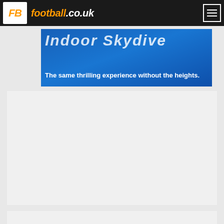football.co.uk
[Figure (screenshot): Advertisement banner for Indoor Skydive with blue background. Text reads 'Indoor Skydive' (partially visible, large italic) and 'The same thrilling experience without the heights.']
[Figure (other): Large empty grey content placeholder area]
[Figure (other): Partial grey content area at bottom of page]